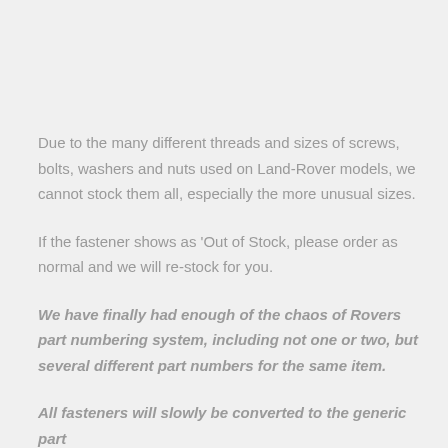Due to the many different threads and sizes of screws, bolts, washers and nuts used on Land-Rover models, we cannot stock them all, especially the more unusual sizes.
If the fastener shows as 'Out of Stock, please order as normal and we will re-stock for you.
We have finally had enough of the chaos of Rovers part numbering system, including not one or two, but several different part numbers for the same item.
All fasteners will slowly be converted to the generic part